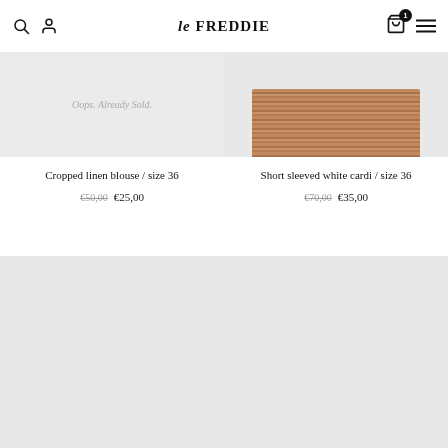le FREDDIE
[Figure (photo): Product image showing 'Oops. Already Sold.' text overlay on light background]
Cropped linen blouse / size 36
€50,00 €25,00
[Figure (photo): Product image showing short sleeved white cardigan detail with brown knit texture]
Short sleeved white cardi / size 36
€70,00 €35,00
[Figure (photo): Empty product placeholder image light gray background]
[Figure (photo): Empty product placeholder image light gray background]